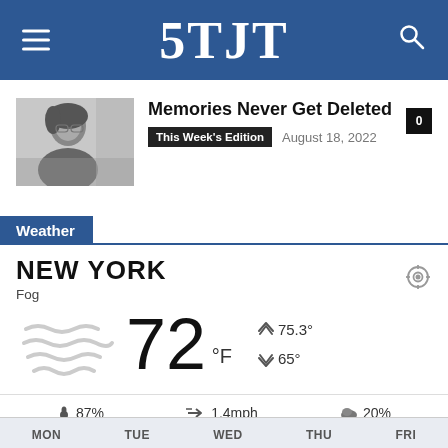5TJT
Memories Never Get Deleted
This Week's Edition  August 18, 2022
Weather
NEW YORK
Fog
72 °F  75.3°  65°
87%  1.4mph  20%
MON  TUE  WED  THU  FRI